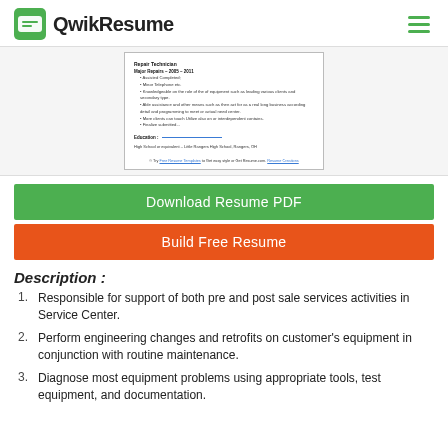QwikResume
[Figure (screenshot): Preview of a resume document showing Repair Technician job content, Education section, and footer links.]
Download Resume PDF
Build Free Resume
Description :
Responsible for support of both pre and post sale services activities in Service Center.
Perform engineering changes and retrofits on customer's equipment in conjunction with routine maintenance.
Diagnose most equipment problems using appropriate tools, test equipment, and documentation.